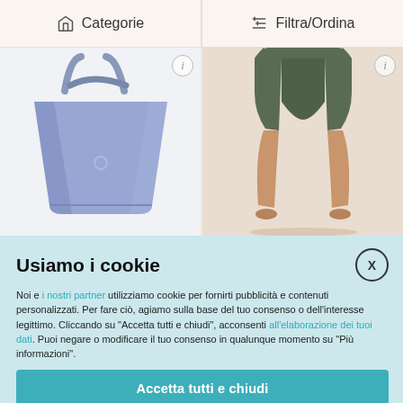Categorie   Filtra/Ordina
[Figure (photo): Blue tote bag on white background]
[Figure (photo): Person wearing olive/dark green shorts, showing legs and lower body]
Usiamo i cookie
Noi e i nostri partner utilizziamo cookie per fornirti pubblicità e contenuti personalizzati. Per fare ciò, agiamo sulla base del tuo consenso o dell'interesse legittimo. Cliccando su "Accetta tutti e chiudi", acconsenti all'elaborazione dei tuoi dati. Puoi negare o modificare il tuo consenso in qualunque momento su "Più informazioni".
Accetta tutti e chiudi
Più informazioni